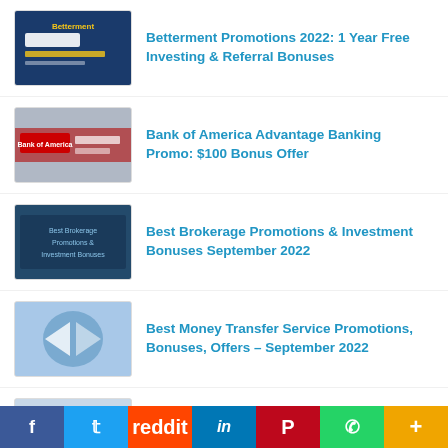Betterment Promotions 2022: 1 Year Free Investing & Referral Bonuses
Bank of America Advantage Banking Promo: $100 Bonus Offer
Best Brokerage Promotions & Investment Bonuses September 2022
Best Money Transfer Service Promotions, Bonuses, Offers – September 2022
Best Robo-Advisor Promotions September 2022 (Automated Investing)
Best Free Checking Account Offers (No Monthly Fees) – September